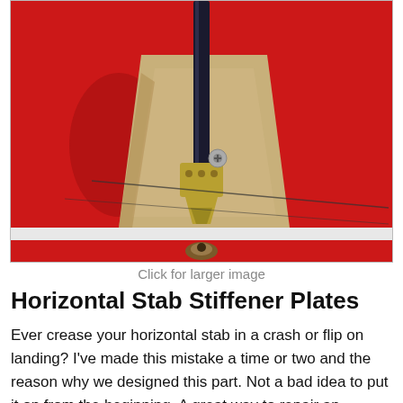[Figure (photo): Close-up photo of a horizontal stabilizer stiffener plate mounted on a red model aircraft surface. The plate is a tan/wood-colored trapezoidal plywood piece with a vertical black rod/tube and brass hardware mounted at center. A bolt and small connector are visible. A white horizontal stripe separates the top and bottom sections of the red surface. A small brown detail is visible at the bottom center.]
Click for larger image
Horizontal Stab Stiffener Plates
Ever crease your horizontal stab in a crash or flip on landing? I've made this mistake a time or two and the reason why we designed this part. Not a bad idea to put it on from the beginning. A great way to repair an already damaged stab section. Made from 1/64th aircraft ply. Each package contains 2 parts. Glue to the surface of your stab. Top and bottom or just one side if you like. Factory mounting holes are already pre-drilled and ready to go. The thin ply is still flexible